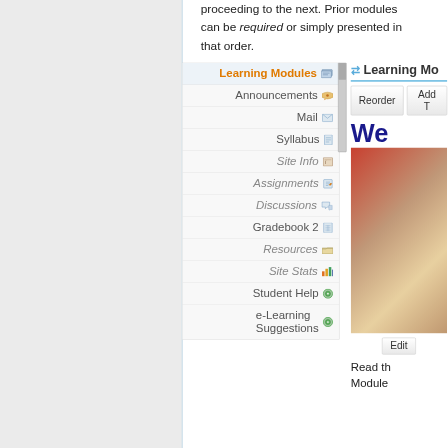proceeding to the next. Prior modules can be required or simply presented in that order.
[Figure (screenshot): Learning Management System navigation menu showing: Learning Modules (active/orange), Announcements, Mail, Syllabus, Site Info (italic), Assignments (italic), Discussions (italic), Gradebook 2, Resources (italic), Site Stats (italic), Student Help, e-Learning Suggestions. Each item has a small icon. A scrollbar is visible on the right side of the menu.]
[Figure (screenshot): Right panel showing 'Learning Mo...' header with refresh icon, Reorder and Add T... buttons, a 'We...' blue bold heading, a partial photo of a person, an Edit button, and text 'Read th...' and 'Module...']